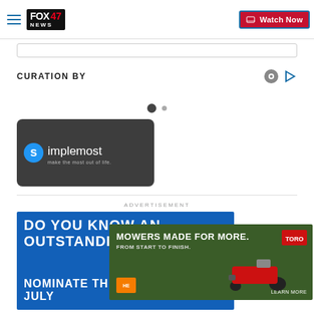FOX 47 NEWS | Watch Now
CURATION BY
[Figure (logo): Simplemost logo — dark gray card with blue 's' circle and white text reading 'simplemost make the most out of life.']
ADVERTISEMENT
[Figure (photo): Advertisement banner: blue background with white text 'DO YOU KNOW AN OUTSTANDING' and 'NOMINATE THEM TODAY AND JULY']
[Figure (photo): Toro advertisement overlay: 'MOWERS MADE FOR MORE. FROM START TO FINISH.' with Toro logo and riding mower image]